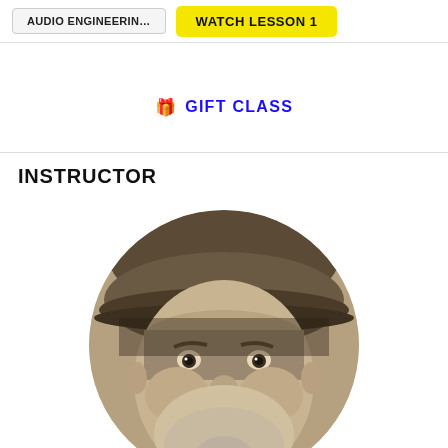AUDIO ENGINEERING
WATCH LESSON 1
🎁 GIFT CLASS
INSTRUCTOR
[Figure (photo): Circular cropped sepia-toned portrait photo of a man wearing a flat cap/hat, looking directly at the camera with a beard/stubble.]